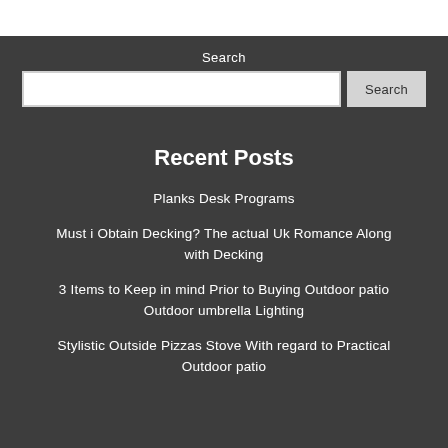Search
Search (input and button)
Recent Posts
Planks Desk Programs
Must i Obtain Decking? The actual Uk Romance Along with Decking
3 Items to Keep in mind Prior to Buying Outdoor patio Outdoor umbrella Lighting
Stylistic Outside Pizzas Stove With regard to Practical Outdoor patio